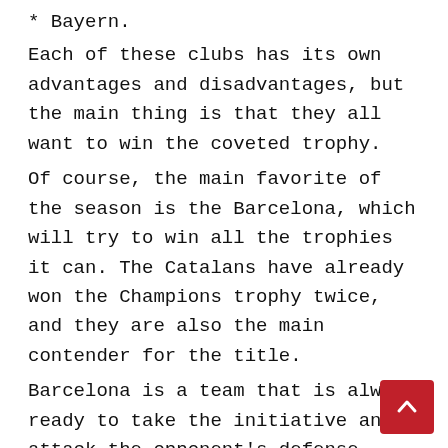* Bayern.
Each of these clubs has its own advantages and disadvantages, but the main thing is that they all want to win the coveted trophy.
Of course, the main favorite of the season is the Barcelona, which will try to win all the trophies it can. The Catalans have already won the Champions trophy twice, and they are also the main contender for the title.
Barcelona is a team that is always ready to take the initiative and attack the opponent's defense. This is what the Catalans did in the first round, when they managed to score 6 goals in a single match.